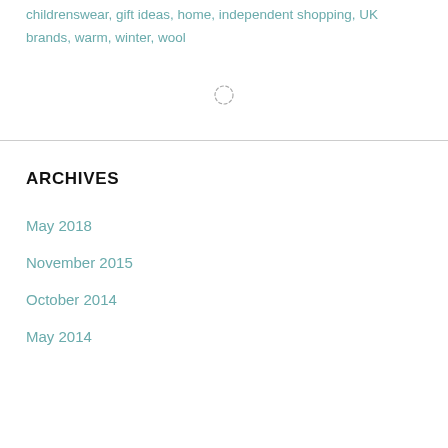childrenswear, gift ideas, home, independent shopping, UK brands, warm, winter, wool
[Figure (other): Loading spinner icon (dashed circle)]
ARCHIVES
May 2018
November 2015
October 2014
May 2014